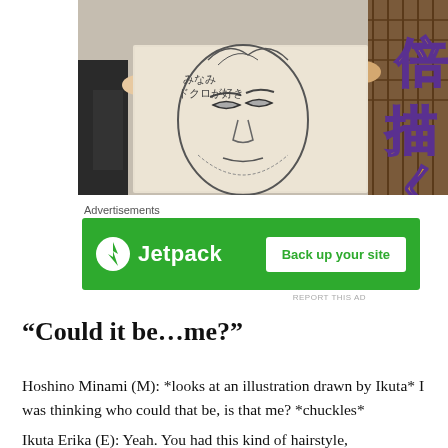[Figure (photo): A person holding up a hand-drawn sketch of a face with Japanese text on it, with large yellow and purple Japanese characters visible on the right side.]
Advertisements
[Figure (logo): Jetpack advertisement banner with green background, Jetpack logo on left and 'Back up your site' button on right.]
REPORT THIS AD
“Could it be…me?”
Hoshino Minami (M): *looks at an illustration drawn by Ikuta* I was thinking who could that be, is that me? *chuckles*
Ikuta Erika (E): Yeah. You had this kind of hairstyle,